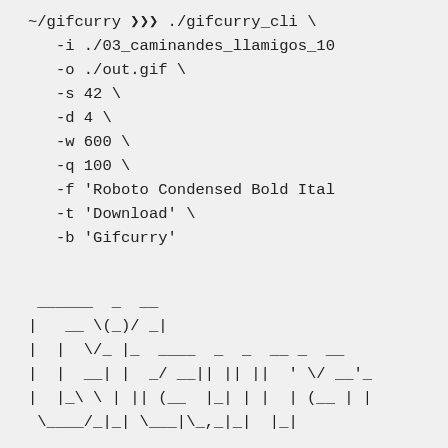~/gifcurry >>> ./gifcurry_cli \
   -i ./03_caminandes_llamigos_10
   -o ./out.gif \
   -s 42 \
   -d 4 \
   -w 600 \
   -q 100 \
   -f 'Roboto Condensed Bold Ital
   -t 'Download' \
   -b 'Gifcurry'
[Figure (other): ASCII art logo spelling 'Gifcurry']